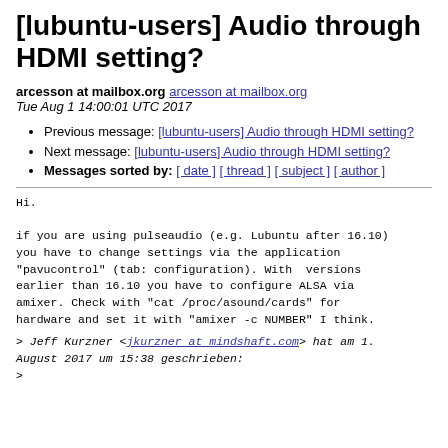[lubuntu-users] Audio through HDMI setting?
arcesson at mailbox.org arcesson at mailbox.org
Tue Aug 1 14:00:01 UTC 2017
Previous message: [lubuntu-users] Audio through HDMI setting?
Next message: [lubuntu-users] Audio through HDMI setting?
Messages sorted by: [ date ] [ thread ] [ subject ] [ author ]
Hi.

if you are using pulseaudio (e.g. Lubuntu after 16.10)
you have to change settings via the application
"pavucontrol" (tab: configuration). With  versions
earlier than 16.10 you have to configure ALSA via
amixer. Check with "cat /proc/asound/cards" for
hardware and set it with "amixer -c NUMBER" I think.
> Jeff Kurzner <jkurzner at mindshaft.com> hat am 1.
August 2017 um 15:38 geschrieben:
>